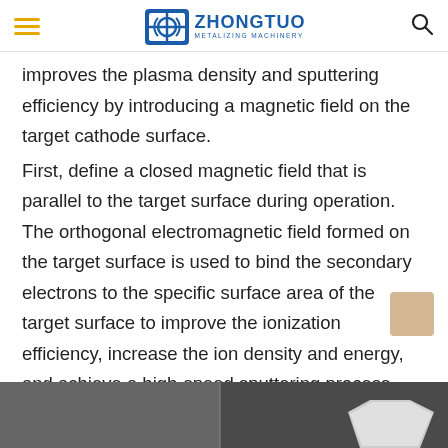ZHONGTUO METALIZING MACHINERY
improves the plasma density and sputtering efficiency by introducing a magnetic field on the target cathode surface. First, define a closed magnetic field that is parallel to the target surface during operation. The orthogonal electromagnetic field formed on the target surface is used to bind the secondary electrons to the specific surface area of the target surface to improve the ionization efficiency, increase the ion density and energy, and achieve a high-speed sputtering process.
[Figure (photo): A grayscale photograph showing industrial equipment, partially visible at the bottom of the page. A white cylindrical or tubular object is visible on the right side against a dark background.]